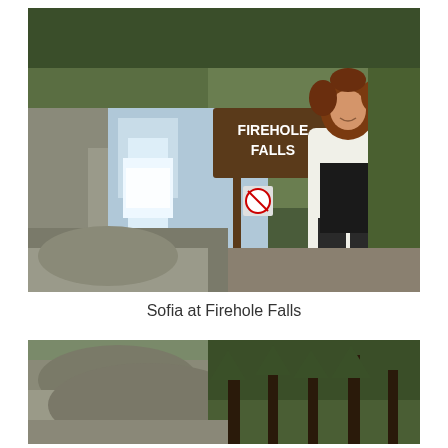[Figure (photo): A young woman with curly auburn hair wearing a white cardigan and black graphic t-shirt stands next to a wooden sign reading 'FIREHOLE FALLS' with a no hiking symbol below it. In the background is a waterfall cascading over rocky terrain surrounded by pine trees.]
Sofia at Firehole Falls
[Figure (photo): A scenic outdoor photograph of rocky cliffs and pine forest, likely near Firehole Falls in Yellowstone National Park.]